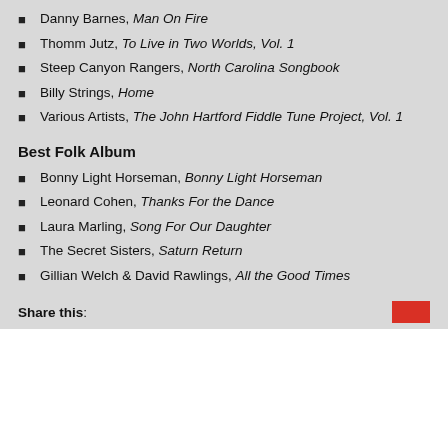Danny Barnes, Man On Fire
Thomm Jutz, To Live in Two Worlds, Vol. 1
Steep Canyon Rangers, North Carolina Songbook
Billy Strings, Home
Various Artists, The John Hartford Fiddle Tune Project, Vol. 1
Best Folk Album
Bonny Light Horseman, Bonny Light Horseman
Leonard Cohen, Thanks For the Dance
Laura Marling, Song For Our Daughter
The Secret Sisters, Saturn Return
Gillian Welch & David Rawlings, All the Good Times
Share this: